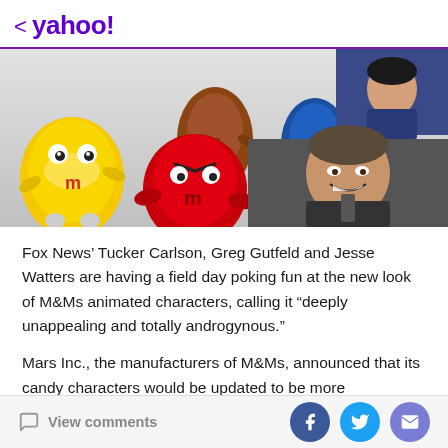< yahoo!
[Figure (photo): Collage image: M&M animated candy characters (yellow, red, green, brown, blue) on the left side; two thumbnail photos on the right showing Fox News TV personalities Greg Gutfeld and Jesse Watters.]
Fox News’ Tucker Carlson, Greg Gutfeld and Jesse Watters are having a field day poking fun at the new look of M&Ms animated characters, calling it “deeply unappealing and totally androgynous.”
Mars Inc., the manufacturers of M&Ms, announced that its candy characters would be updated to be more
View comments